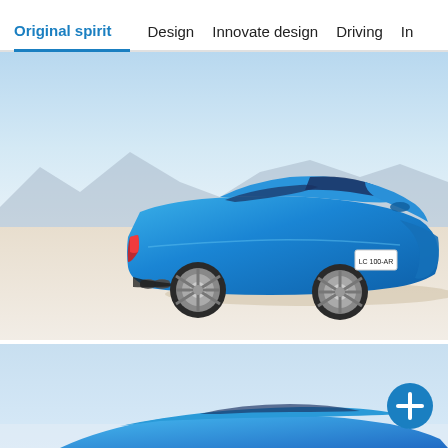Original spirit   Design   Innovate design   Driving   In
[Figure (photo): Blue Alpine A110 sports car photographed from rear three-quarter angle on a flat desert salt flat, with mountains in the background. The car is a vibrant electric blue with silver alloy wheels.]
[Figure (photo): Partial view of a blue Alpine sports car from the front, photographed against a light blue sky background. A blue circular plus button is overlaid in the lower right corner.]